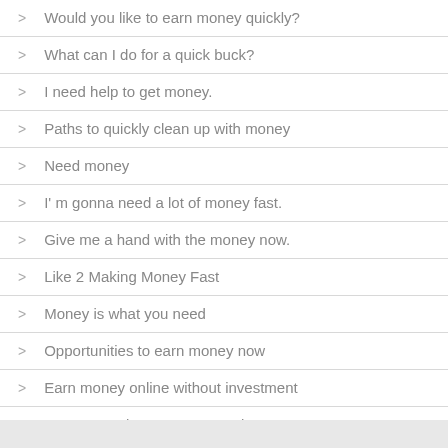Would you like to earn money quickly?
What can I do for a quick buck?
I need help to get money.
Paths to quickly clean up with money
Need money
I' m gonna need a lot of money fast.
Give me a hand with the money now.
Like 2 Making Money Fast
Money is what you need
Opportunities to earn money now
Earn money online without investment
Do you need some money today?
Getting some money today
How to make money?